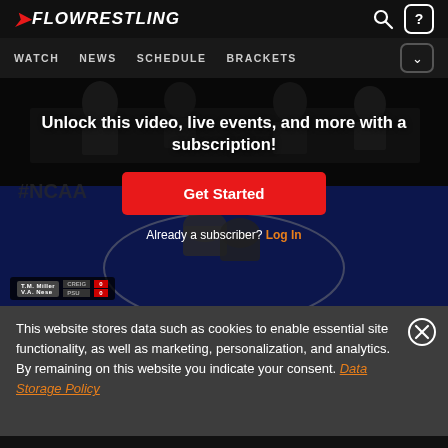FLOWRESTLING — WATCH | NEWS | SCHEDULE | BRACKETS
[Figure (screenshot): Flowrestling video paywall screen showing a wrestling match on a blue mat with officials in the background. Overlay text reads: Unlock this video, live events, and more with a subscription! with a red Get Started button and Already a subscriber? Log In text below.]
Unlock this video, live events, and more with a subscription!
Get Started
Already a subscriber? Log In
This website stores data such as cookies to enable essential site functionality, as well as marketing, personalization, and analytics. By remaining on this website you indicate your consent. Data Storage Policy